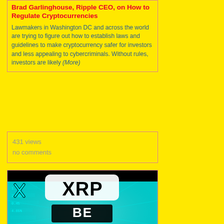Brad Garlinghouse, Ripple CEO, on How to Regulate Cryptocurrencies
Lawmakers in Washington DC and across the world are trying to figure out how to establish laws and guidelines to make cryptocurrency safer for investors and less appealing to cybercriminals. Without rules, investors are likely (More)
431 views
no comments
[Figure (photo): XRP Ripple graphic with cyan/teal background showing financial data, with large bold text reading 'XRP BE READY!' and the Ripple X logo in the top left corner]
XRP Ripple: Brad Garlinghouse WARNS You!
XRP Ripple: Brad Garlinghouse WARNS You! XRP News Today, XRP Price